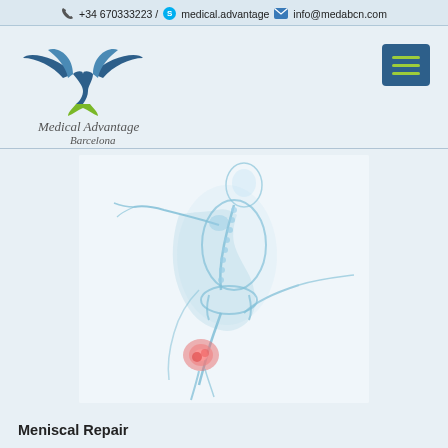+34 670333223 / medical.advantage  info@medabcn.com
[Figure (logo): Medical Advantage Barcelona logo — blue stylized bird with green leaf stem, text 'Medical Advantage Barcelona']
[Figure (photo): X-ray style illustration of a running human figure with skeleton visible, knee joint highlighted in red/pink indicating pain or injury area]
Meniscal Repair